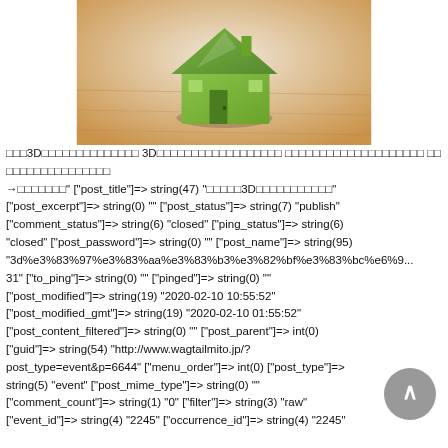[Figure (photo): A small green 3D-printed house model sitting on a wooden surface, photographed from a slight angle.]
□□□3D□□□□□□□□□□□□□□ 3D□□□□□□□□□□□□□□□□□□ □□□□□□□□□□□□□□□□□□□□ □□□□□□□□□□□□□□□□□ →□□□□□□□" ["post_title"]=> string(47) "□□□□□3D□□□□□□□□□□□" ["post_excerpt"]=> string(0) "" ["post_status"]=> string(7) "publish" ["comment_status"]=> string(6) "closed" ["ping_status"]=> string(6) "closed" ["post_password"]=> string(0) "" ["post_name"]=> string(95) "3d%e3%83%97%e3%83%aa%e3%83%b3%e3%82%bf%e3%83%bc%e6%9... 31" ["to_ping"]=> string(0) "" ["pinged"]=> string(0) "" ["post_modified"]=> string(19) "2020-02-10 10:55:52" ["post_modified_gmt"]=> string(19) "2020-02-10 01:55:52" ["post_content_filtered"]=> string(0) "" ["post_parent"]=> int(0) ["guid"]=> string(54) "http://www.wagtailmito.jp/?post_type=event&p=6644" ["menu_order"]=> int(0) ["post_type"]=> string(5) "event" ["post_mime_type"]=> string(0) "" ["comment_count"]=> string(1) "0" ["filter"]=> string(3) "raw" ["event_id"]=> string(4) "2245" ["occurrence_id"]=> string(4) "2245"